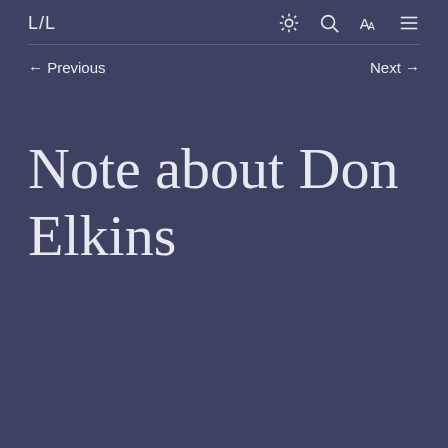L/L
← Previous
Next →
Note about Don Elkins